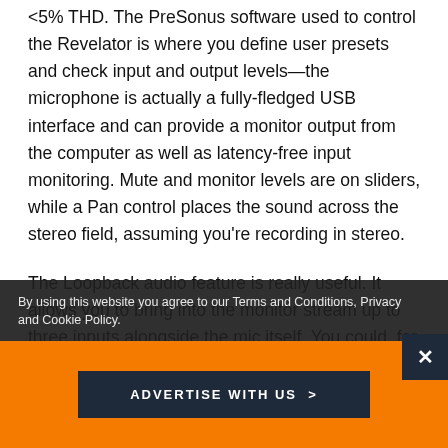<5% THD. The PreSonus software used to control the Revelator is where you define user presets and check input and output levels—the microphone is actually a fully-fledged USB interface and can provide a monitor output from the computer as well as latency-free input monitoring. Mute and monitor levels are on sliders, while a Pan control places the sound across the stereo field, assuming you're recording in stereo.
The Loopback audio feature is really useful. It allows you to bring into the monitor stream up to three inputs alongside the mic itself. You could, for example, mix an incoming videoconference call, some
By using this website you agree to our Terms and Conditions, Privacy and Cookie Policy.
ADVERTISE WITH US >